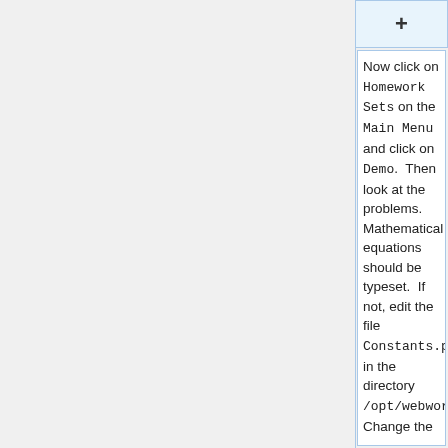[Figure (screenshot): Plus button / add element UI box at top right]
Now click on <code>Homework Sets</code> on the <code>Main Menu</code> and click on <code>Demo</code>.  Then look at the problems.  Mathematical equations should be typeset.  If not, edit the file <code>Constants.pm</code> in the directory <code>/opt/webwork/webwork2/lib/WeBWorK</code>.  Change the